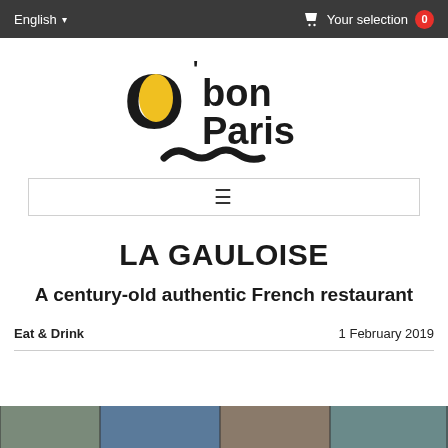English  ▾   🛒 Your selection  0
[Figure (logo): O'bon Paris logo with yellow oval O, text 'bon Paris', and mustache illustration]
[Figure (other): Hamburger menu icon (three horizontal lines)]
LA GAULOISE
A century-old authentic French restaurant
Eat & Drink    1 February 2019
[Figure (photo): Photo strip at bottom showing restaurant interior/exterior scenes]